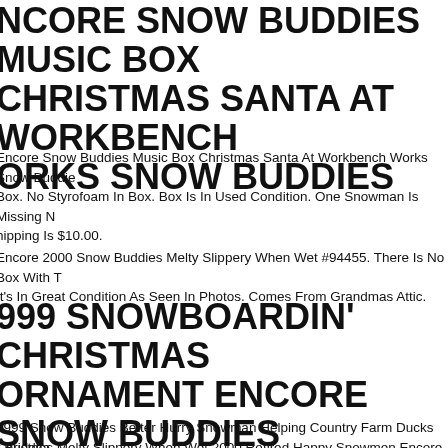ENCORE SNOW BUDDIES MUSIC BOX CHRISTMAS SANTA AT WORKBENCH WORKS SNOW BUDDIES
Encore Snow Buddies Music Box Christmas Santa At Workbench Works Snow Buddies Box. No Styrofoam In Box. Box Is In Used Condition. One Snowman Is Missing Nose. Shipping Is $10.00.
Encore 2000 Snow Buddies Melty Slippery When Wet #94455. There Is No Box With This. It's In Great Condition As Seen In Photos. Comes From Grandmas Attic.
1999 SNOWBOARDIN' CHRISTMAS ORNAMENT ENCORE SNOW BUDDIES #94215 NIB
1999 Snow Buddies Better Hurry Snowman Helping Country Farm Ducks Christmas
r Buddies Melty Slippery When Wet 2000 Retired Happy Snowmen Encore #9445